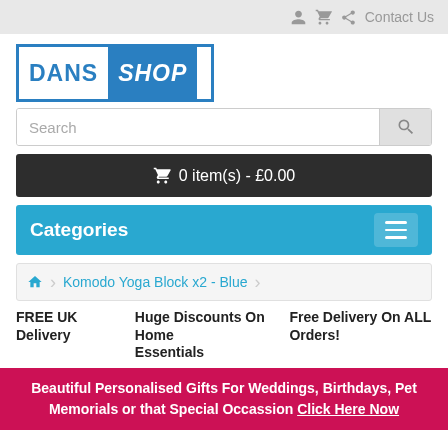Contact Us
[Figure (logo): DANS SHOP logo — white and blue rectangle with 'DANS' in blue on white and 'SHOP' in italic white on blue background]
Search
0 item(s) - £0.00
Categories
Komodo Yoga Block x2 - Blue
FREE UK Delivery
Huge Discounts On Home Essentials
Free Delivery On ALL Orders!
Beautiful Personalised Gifts For Weddings, Birthdays, Pet Memorials or that Special Occassion Click Here Now